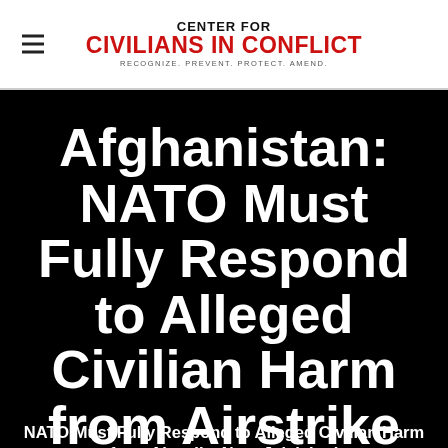[Figure (logo): Center for Civilians in Conflict logo with hamburger menu icon. Logo text: CENTER FOR CIVILIANS IN CONFLICT. Tagline: RECOGNIZE. PREVENT. PROTECT. AMEND.]
Afghanistan: NATO Must Fully Respond to Alleged Civilian Harm from Airstrike Near Jalalabad
NATO Must Fully Respond to Alleged Civilian Harm from Airstrike Near Jalalabad